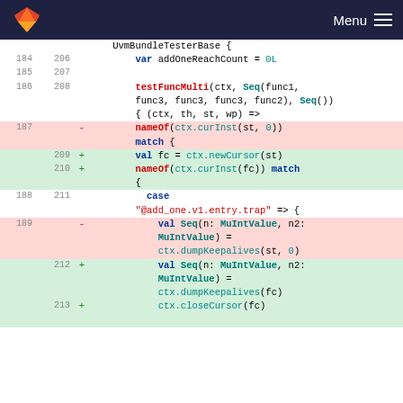Menu
[Figure (screenshot): Code diff view showing Scala source code changes. Lines 184-213 visible. Removed lines (187, 189) highlighted in red, added lines (209, 210, 212, 213) highlighted in green. Code shows testFuncMulti call, nameOf/match patterns, and cursor-related val declarations.]